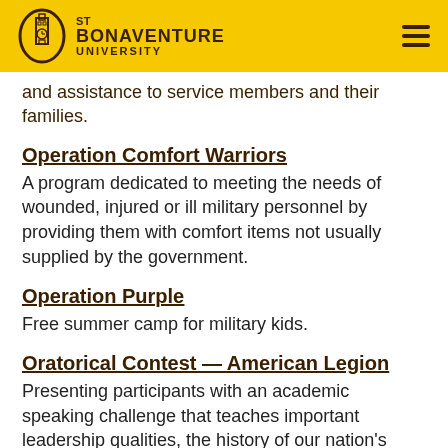St Bonaventure University
and assistance to service members and their families.
Operation Comfort Warriors
A program dedicated to meeting the needs of wounded, injured or ill military personnel by providing them with comfort items not usually supplied by the government.
Operation Purple
Free summer camp for military kids.
Oratorical Contest — American Legion
Presenting participants with an academic speaking challenge that teaches important leadership qualities, the history of our nation's